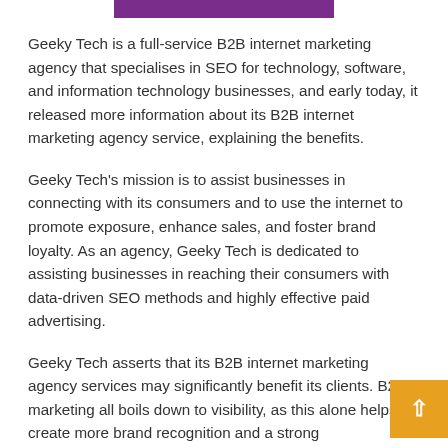[Figure (other): Purple horizontal bar at top center of page]
Geeky Tech is a full-service B2B internet marketing agency that specialises in SEO for technology, software, and information technology businesses, and early today, it released more information about its B2B internet marketing agency service, explaining the benefits.
Geeky Tech's mission is to assist businesses in connecting with its consumers and to use the internet to promote exposure, enhance sales, and foster brand loyalty. As an agency, Geeky Tech is dedicated to assisting businesses in reaching their consumers with data-driven SEO methods and highly effective paid advertising.
Geeky Tech asserts that its B2B internet marketing agency services may significantly benefit its clients. B2B marketing all boils down to visibility, as this alone helps create more brand recognition and a strong